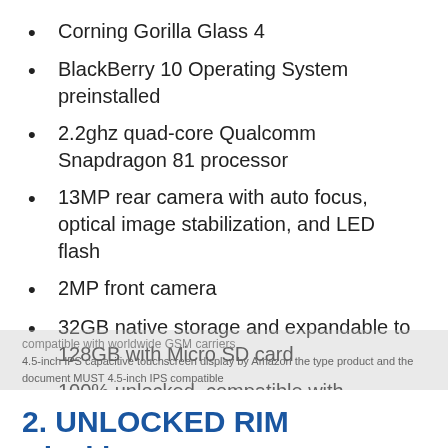Corning Gorilla Glass 4
BlackBerry 10 Operating System preinstalled
2.2ghz quad-core Qualcomm Snapdragon 81 processor
13MP rear camera with auto focus, optical image stabilization, and LED flash
2MP front camera
32GB native storage and expandable to 128GB with Micro SD card
100% unlocked, compatible with worldwide GSM carriers
4.5-inch IPS capacitive touchscreen display
2. UNLOCKED RIM Blackberry 9300 Curve GSM Quad Band